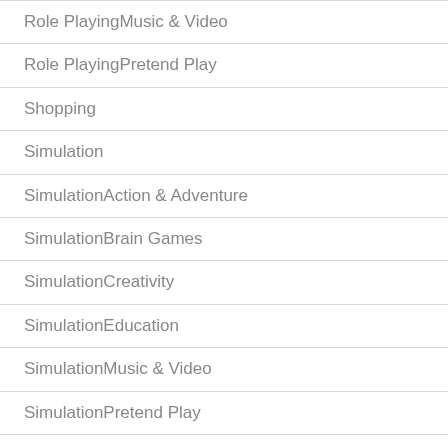Role PlayingMusic & Video
Role PlayingPretend Play
Shopping
Simulation
SimulationAction & Adventure
SimulationBrain Games
SimulationCreativity
SimulationEducation
SimulationMusic & Video
SimulationPretend Play